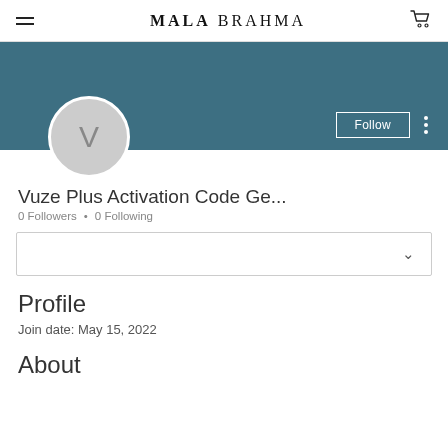MALA BRAHMA
[Figure (screenshot): Profile banner with teal/slate blue background containing Follow button and vertical three-dot menu. Circular avatar with letter V below on white background.]
Vuze Plus Activation Code Ge...
0 Followers • 0 Following
Profile
Join date: May 15, 2022
About